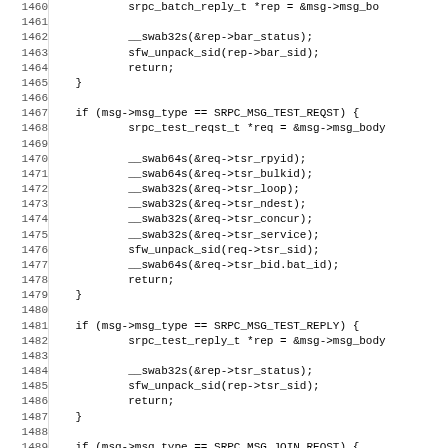Source code listing, lines 1460-1491, C programming language with SRPC message type handling